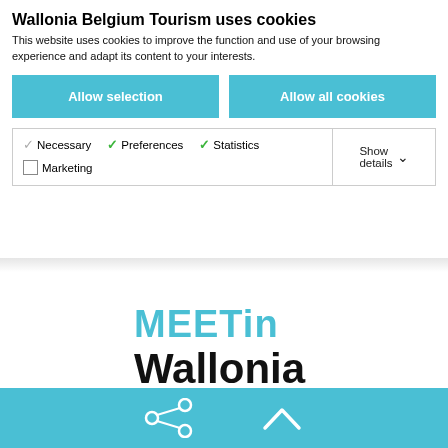Wallonia Belgium Tourism uses cookies
This website uses cookies to improve the function and use of your browsing experience and adapt its content to your interests.
Allow selection
Allow all cookies
Necessary   Preferences   Statistics   Marketing   Show details
[Figure (logo): MEETin Wallonia .be logo in cyan and black bold text]
[Figure (logo): Partner logos row: Zz, leaf/bird icon, vertical bar, FEDER text, red icons]
[Figure (infographic): Bottom cyan bar with share icon (circles connected) and up-arrow chevron icon]